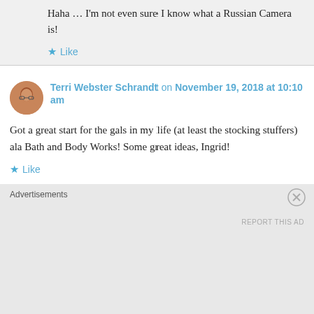Haha … I'm not even sure I know what a Russian Camera is!
Like
Terri Webster Schrandt on November 19, 2018 at 10:10 am
Got a great start for the gals in my life (at least the stocking stuffers) ala Bath and Body Works! Some great ideas, Ingrid!
Like
Advertisements
REPORT THIS AD